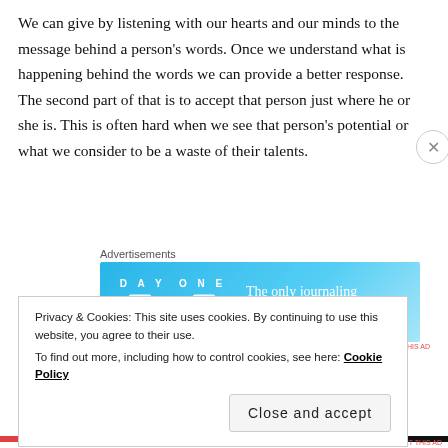We can give by listening with our hearts and our minds to the message behind a person’s words. Once we understand what is happening behind the words we can provide a better response. The second part of that is to accept that person just where he or she is. This is often hard when we see that person’s potential or what we consider to be a waste of their talents.
[Figure (other): Advertisement banner for Day One journaling app with blue gradient background showing app icons and text: 'The only journaling app you’ll ever need.']
We might want to ask our guides to tell us how to
Privacy & Cookies: This site uses cookies. By continuing to use this website, you agree to their use.
To find out more, including how to control cookies, see here: Cookie Policy
Close and accept